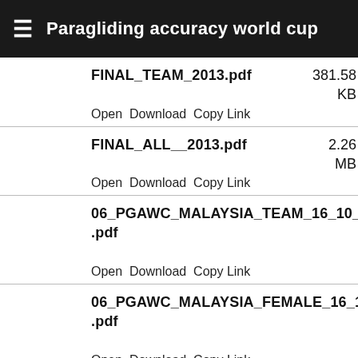Paragliding accuracy world cup
FINAL_TEAM_2013.pdf  381.58 KB  Open  Download  Copy Link
FINAL_ALL__2013.pdf  2.26 MB  Open  Download  Copy Link
06_PGAWC_MALAYSIA_TEAM_16_10_2013.pdf  463.02 KB  Open  Download  Copy Link
06_PGAWC_MALAYSIA_FEMALE_16_10_2013.pdf  439.42 KB  Open  Download  Copy Link
06_PGAWC_MALAYSIA_ALL_16_10_2013.pdf  463.45 KB  Open  Download  Copy Link